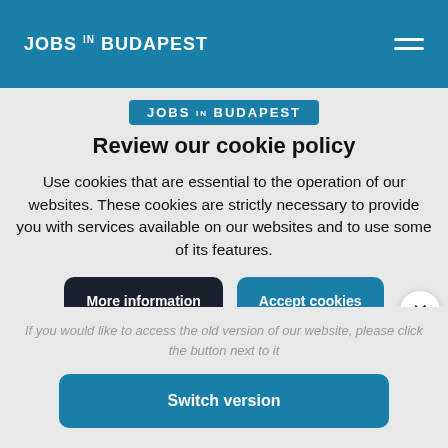JOBS IN BUDAPEST
[Figure (logo): JOBS IN BUDAPEST logo on blue background]
Review our cookie policy
Use cookies that are essential to the operation of our websites. These cookies are strictly necessary to provide you with services available on our websites and to use some of its features.
More information | Accept cookies
If you would like to access the old version of our website, please click the button next to it
Switch version